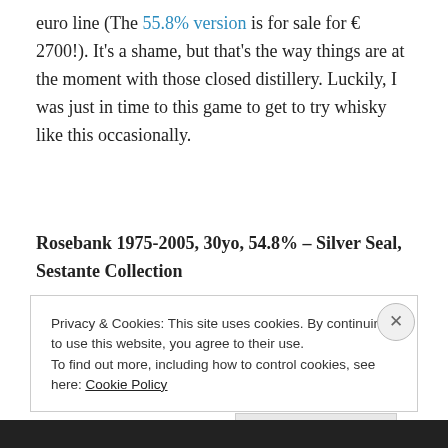euro line (The 55.8% version is for sale for € 2700!). It's a shame, but that's the way things are at the moment with those closed distillery. Luckily, I was just in time to this game to get to try whisky like this occasionally.
Rosebank 1975-2005, 30yo, 54.8% – Silver Seal, Sestante Collection
Privacy & Cookies: This site uses cookies. By continuing to use this website, you agree to their use.
To find out more, including how to control cookies, see here: Cookie Policy